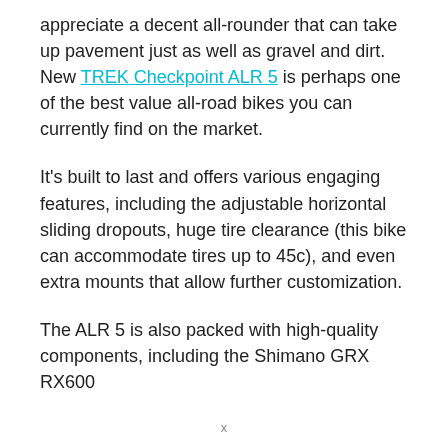appreciate a decent all-rounder that can take up pavement just as well as gravel and dirt. New TREK Checkpoint ALR 5 is perhaps one of the best value all-road bikes you can currently find on the market.
It's built to last and offers various engaging features, including the adjustable horizontal sliding dropouts, huge tire clearance (this bike can accommodate tires up to 45c), and even extra mounts that allow further customization.
The ALR 5 is also packed with high-quality components, including the Shimano GRX RX600
x